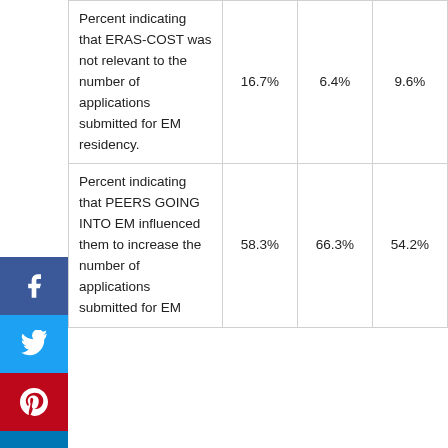| Percent indicating that ERAS-COST was not relevant to the number of applications submitted for EM residency. | 16.7% | 6.4% | 9.6% |
| Percent indicating that PEERS GOING INTO EM influenced them to increase the number of applications submitted for EM | 58.3% | 66.3% | 54.2% |